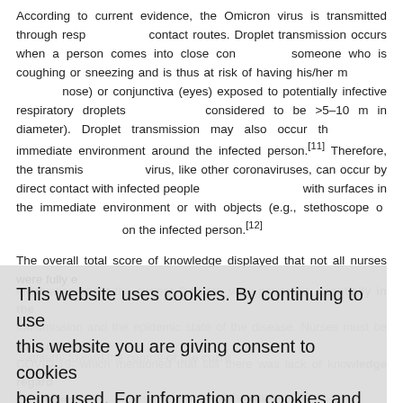According to current evidence, the Omicron virus is transmitted through respiratory and contact routes. Droplet transmission occurs when a person comes into close contact with someone who is coughing or sneezing and is thus at risk of having his/her mucosae (mouth, nose) or conjunctiva (eyes) exposed to potentially infective respiratory droplets (which are considered to be >5–10 m in diameter). Droplet transmission may also occur through the immediate environment around the infected person.[11] Therefore, the transmission of the virus, like other coronaviruses, can occur by direct contact with infected people or indirect contact with surfaces in the immediate environment or with objects (e.g., stethoscope or thermometer) used on the infected person.[12]
The overall total score of knowledge displayed that not all nurses were fully equipped with information about the current Omicron virus pandemic, especially in the routes of transmission and the epidemic state of the disease. Nurses must be concurrent with the latest COVID-19, which mentioned that still there was lack of knowledge regarding some consequences.
...attitude toward the control of the current outbreak...
...majority concluded that the disease could be controlled. In a survey by Nada... with improvement short-term predictions and prevention strategies for Omicron COVID-19 was a controllable disease, based on the current spread and effect... quarantined individuals... management of isolated individuals... disease burden... stated in 2020 that Egypt could... by May 2021. The independent report concluded that American people felt that c...
This website uses cookies. By continuing to use this website you are giving consent to cookies being used. For information on cookies and how you can disable them visit our
Privacy and Cookie Policy.
AGREE & PROCEED